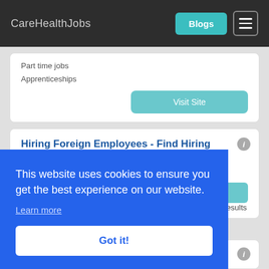CareHealthJobs | Blogs
Part time jobs
Apprenticeships
Visit Site
Hiring Foreign Employees - Find Hiring Foreign Employees
Ad https://us.top10quest.com/search/quick_results
results
This website uses cookies to ensure you get the best experience on our website.
Learn more
Got it!
Hiring International Employees - Job